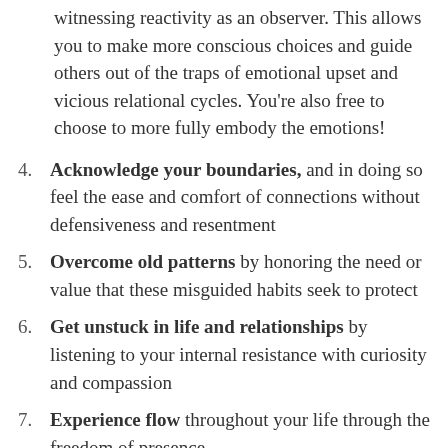witnessing reactivity as an observer. This allows you to make more conscious choices and guide others out of the traps of emotional upset and vicious relational cycles. You're also free to choose to more fully embody the emotions!
4. Acknowledge your boundaries, and in doing so feel the ease and comfort of connections without defensiveness and resentment
5. Overcome old patterns by honoring the need or value that these misguided habits seek to protect
6. Get unstuck in life and relationships by listening to your internal resistance with curiosity and compassion
7. Experience flow throughout your life through the freedom of presence
8. Attune your body and feel into your emotions